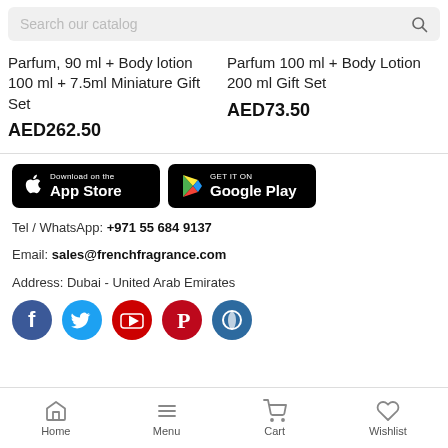Search our catalog
Parfum, 90 ml + Body lotion 100 ml + 7.5ml Miniature Gift Set
AED262.50
Parfum 100 ml + Body Lotion 200 ml Gift Set
AED73.50
[Figure (screenshot): App Store download button (black)]
[Figure (screenshot): Google Play download button (black)]
Tel / WhatsApp: +971 55 684 9137
Email: sales@frenchfragrance.com
Address: Dubai - United Arab Emirates
[Figure (illustration): Social media icons row: Facebook, Twitter, YouTube, Pinterest, and one more]
Home   Menu   Cart   Wishlist